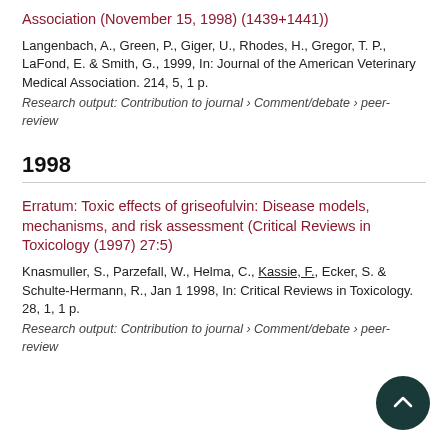... (Journal of the American Veterinary Medical Association (November 15, 1998) (1439+1441))
Langenbach, A., Green, P., Giger, U., Rhodes, H., Gregor, T. P., LaFond, E. & Smith, G., 1999, In: Journal of the American Veterinary Medical Association. 214, 5, 1 p.
Research output: Contribution to journal › Comment/debate › peer-review
1998
Erratum: Toxic effects of griseofulvin: Disease models, mechanisms, and risk assessment (Critical Reviews in Toxicology (1997) 27:5)
Knasmuller, S., Parzefall, W., Helma, C., Kassie, F., Ecker, S. & Schulte-Hermann, R., Jan 1 1998, In: Critical Reviews in Toxicology. 28, 1, 1 p.
Research output: Contribution to journal › Comment/debate › peer-review